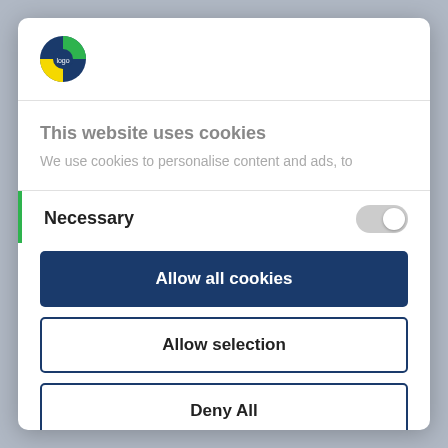[Figure (logo): Circular logo with dark blue and green/yellow colors]
This website uses cookies
We use cookies to personalise content and ads, to
Necessary
Allow all cookies
Allow selection
Deny All
Powered by Cookiebot by Usercentrics